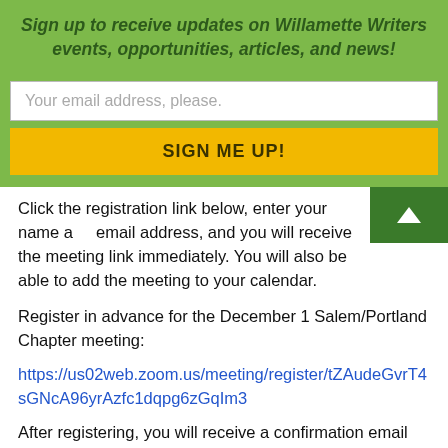Sign up to receive updates on Willamette Writers events, opportunities, articles, and news!
Your email address, please.
SIGN ME UP!
Click the registration link below, enter your name and email address, and you will receive the meeting link immediately. You will also be able to add the meeting to your calendar.
Register in advance for the December 1 Salem/Portland Chapter meeting:
https://us02web.zoom.us/meeting/register/tZAudeGvrT4sGNcA96yrAzfc1dqpg6zGqIm3
After registering, you will receive a confirmation email containing information about joining the meeting.